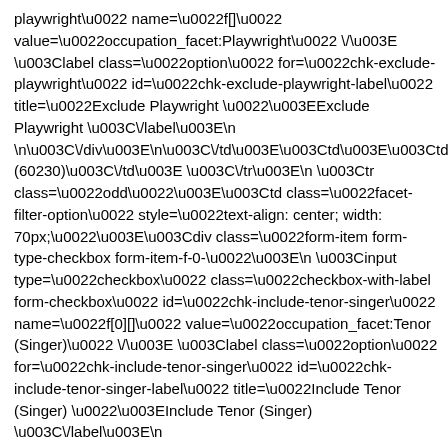playwright\u0022 name=\u0022f[]\u0022 value=\u0022occupation_facet:Playwright\u0022 \/\u003E \u003Clabel class=\u0022option\u0022 for=\u0022chk-exclude-playwright\u0022 id=\u0022chk-exclude-playwright-label\u0022 title=\u0022Exclude Playwright \u0022\u003EExclude Playwright \u003C\/label\u003E\n \n\u003C\/div\u003E\n\u003C\/td\u003E\u003Ctd\u003E\u003Ctd\u003EPlaywright (60230)\u003C\/td\u003E \u003C\/tr\u003E\n \u003Ctr class=\u0022odd\u0022\u003E\u003Ctd class=\u0022facet-filter-option\u0022 style=\u0022text-align: center; width: 70px;\u0022\u003E\u003Cdiv class=\u0022form-item form-type-checkbox form-item-f-0-\u0022\u003E\n \u003Cinput type=\u0022checkbox\u0022 class=\u0022checkbox-with-label form-checkbox\u0022 id=\u0022chk-include-tenor-singer\u0022 name=\u0022f[0][]\u0022 value=\u0022occupation_facet:Tenor (Singer)\u0022 \/\u003E \u003Clabel class=\u0022option\u0022 for=\u0022chk-include-tenor-singer\u0022 id=\u0022chk-include-tenor-singer-label\u0022 title=\u0022Include Tenor (Singer) \u0022\u003EInclude Tenor (Singer) \u003C\/label\u003E\n \n\u003C\/div\u003E\n\u003C\/td\u003E\u003Ctd class=\u0022facet-filter-option\u0022 style=\u0022text-align: center; width: 70px;\u0022\u003E\u003Cdiv class=\u0022form-item form-type-checkbox form-item-f-\u0022\u003E\n \u003Cinput type=\u0022checkbox\u0022 class=\u0022checkbox-with-label form-checkbox\u0022 id=\u0022chk-exclude-tenor-